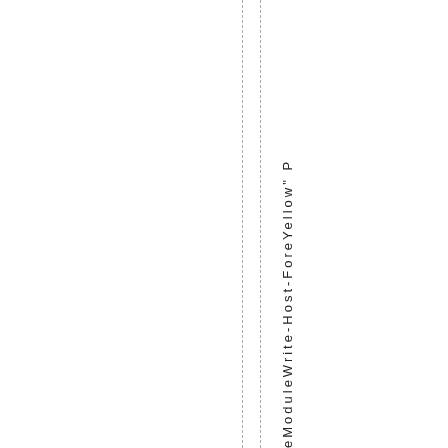eModuleWrite-Host-ForeYellow" P